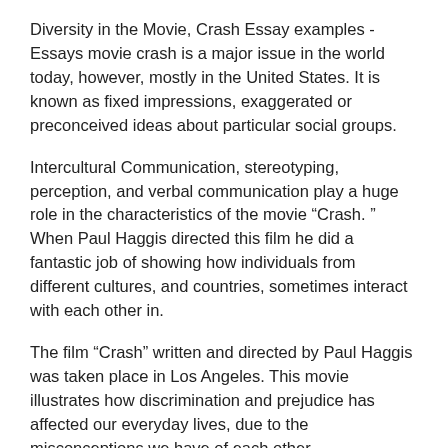Diversity in the Movie, Crash Essay examples - Essays movie crash is a major issue in the world today, however, mostly in the United States. It is known as fixed impressions, exaggerated or preconceived ideas about particular social groups.
Intercultural Communication, stereotyping, perception, and verbal communication play a huge role in the characteristics of the movie “Crash. ” When Paul Haggis directed this film he did a fantastic job of showing how individuals from different cultures, and countries, sometimes interact with each other in.
The film “Crash” written and directed by Paul Haggis was taken place in Los Angeles. This movie illustrates how discrimination and prejudice has affected our everyday lives, due to the misconceptions we have of each other.
The movie, Crash, demonstrates the lives of various individuals from diverse, stereotyping, organized by...